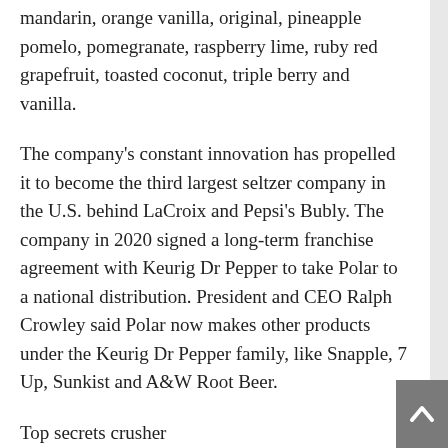mandarin, orange vanilla, original, pineapple pomelo, pomegranate, raspberry lime, ruby red grapefruit, toasted coconut, triple berry and vanilla.
The company's constant innovation has propelled it to become the third largest seltzer company in the U.S. behind LaCroix and Pepsi's Bubly. The company in 2020 signed a long-term franchise agreement with Keurig Dr Pepper to take Polar to a national distribution. President and CEO Ralph Crowley said Polar now makes other products under the Keurig Dr Pepper family, like Snapple, 7 Up, Sunkist and A&W Root Beer.
Top secrets crusher
At governmental agencies operating in top-secret environments, protecting information and data and making sure state secrets don't fall into the wrong hands is critical. Now that most information is digital these days, agencies like the FBI, CIA, military and